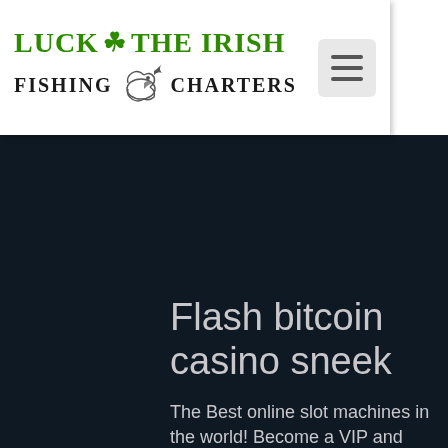[Figure (logo): Luck of The Irish Fishing Charters logo with shamrock and fish illustration, with hamburger menu button]
Flash bitcoin casino sneek
The Best online slot machines in the world! Become a VIP and enjoy great rewards! It's